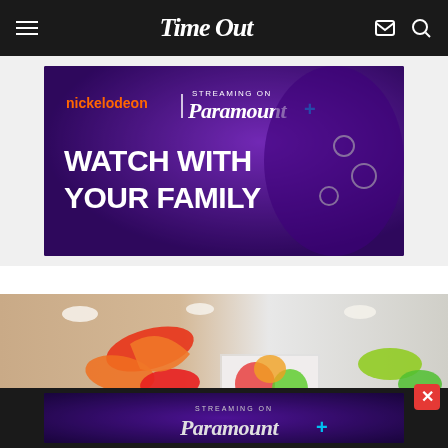Time Out
[Figure (illustration): Nickelodeon and Paramount+ advertisement banner: purple background with a character with purple hair wearing a moon-print outfit. Text reads 'STREAMING ON Paramount+', 'nickelodeon | Paramount+', 'WATCH WITH YOUR FAMILY']
[Figure (photo): Interior photo showing colorful glass art installation on ceiling — red, orange, yellow and green blown-glass shapes hanging above, with a bright colorful painting visible on the wall]
[Figure (illustration): Paramount+ streaming advertisement banner: dark purple background with text 'STREAMING ON Paramount+']